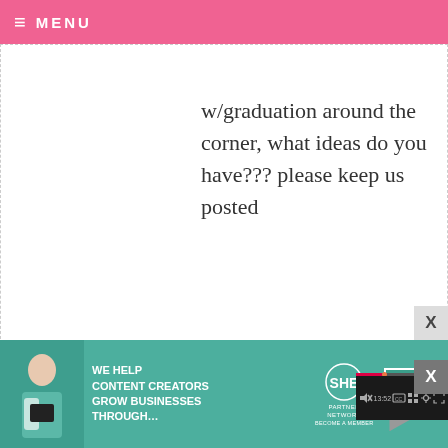≡ MENU
w/graduation around the corner, what ideas do you have??? please keep us posted
LAURA — [date redacted]
Oops, I ju[st] several da[ys] redundan[t]
[Figure (screenshot): Video player overlay showing a black video player with play button, progress bar at 13:52, and playback controls (mute, CC, grid, settings, fullscreen)]
[Figure (infographic): Advertisement banner: 'We help content creators grow businesses through...' with SHE Partner Network logo and Learn More button]